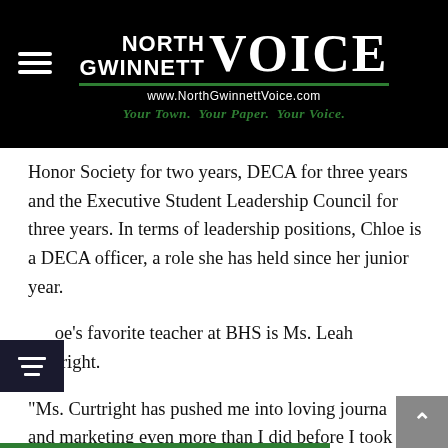[Figure (logo): North Gwinnett Voice newspaper logo with hamburger menu icon, publication name, green underline, URL www.NorthGwinnettVoice.com, and tagline 'Your Town. Your Paper. Your Voice.' in green italic text on black background]
Honor Society for two years, DECA for three years and the Executive Student Leadership Council for three years. In terms of leadership positions, Chloe is a DECA officer, a role she has held since her junior year.
Chloe's favorite teacher at BHS is Ms. Leah Curtright.
“Ms. Curtright has pushed me into loving journalism and marketing even more than I did before I took